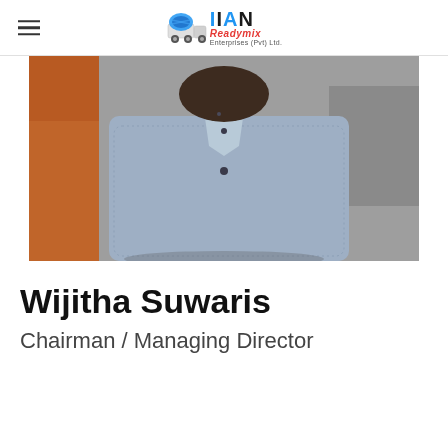IIAN Readymix Enterprises (Pvt) Ltd
[Figure (photo): Close-up photo of a man in a light blue patterned button-up shirt, cropped from chest to chin, with other people visible in the background]
Wijitha Suwaris
Chairman / Managing Director